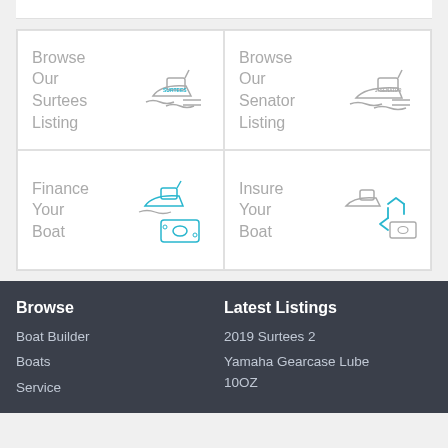[Figure (infographic): 2x2 grid of clickable cards: Browse Our Surtees Listing (boat icon), Browse Our Senator Listing (boat icon), Finance Your Boat (boat with money icon), Insure Your Boat (boat with recycling/money icon)]
Browse
Boat Builder
Boats
Service
Latest Listings
2019 Surtees 2
Yamaha Gearcase Lube 10OZ